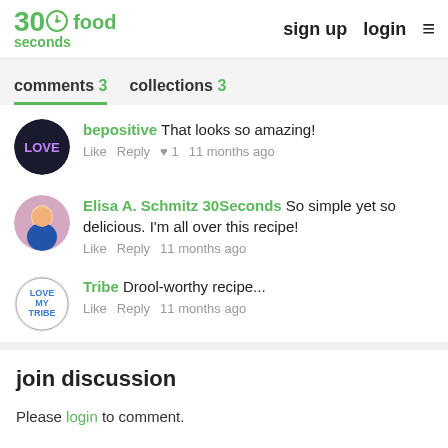30seconds food | sign up | login
comments 3   collections 3
bepositive  That looks so amazing! Like  Reply  ♥1  11 months ago
Elisa A. Schmitz 30Seconds  So simple yet so delicious. I'm all over this recipe! Like  Reply  11 months ago
Tribe  Drool-worthy recipe... Like  Reply  11 months ago
join discussion
Please login to comment.